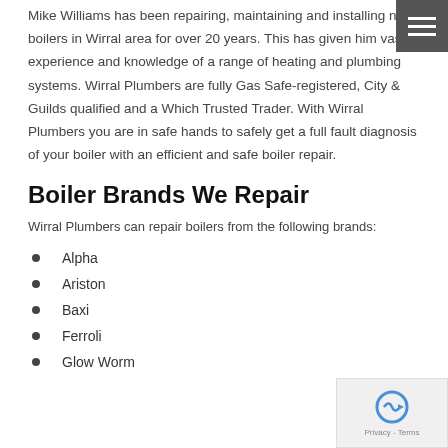[Figure (other): Hamburger menu icon in dark grey square, top right corner]
Mike Williams has been repairing, maintaining and installing new boilers in Wirral area for over 20 years. This has given him vast experience and knowledge of a range of heating and plumbing systems. Wirral Plumbers are fully Gas Safe-registered, City & Guilds qualified and a Which Trusted Trader. With Wirral Plumbers you are in safe hands to safely get a full fault diagnosis of your boiler with an efficient and safe boiler repair.
Boiler Brands We Repair
Wirral Plumbers can repair boilers from the following brands:
Alpha
Ariston
Baxi
Ferroli
Glow Worm
[Figure (other): Privacy/reCAPTCHA badge in bottom right corner]